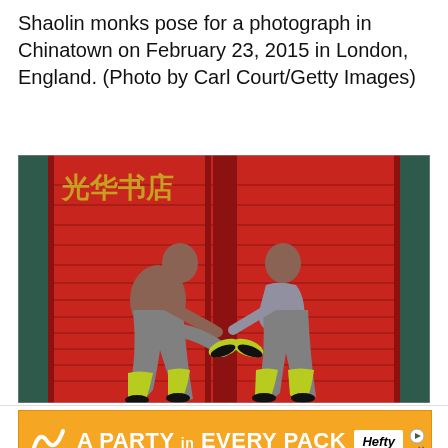Shaolin monks pose for a photograph in Chinatown on February 23, 2015 in London, England. (Photo by Carl Court/Getty Images)
[Figure (photo): Two Shaolin monks in grey uniforms with yellow-green wrapped legs performing a flying kick pose facing each other in front of red shuttered doors with Chinese characters (光华书店) written in gold.]
[Figure (infographic): Advertisement banner with orange background reading 'A PARTY in EVERY PACK' with Hefty brand logo.]